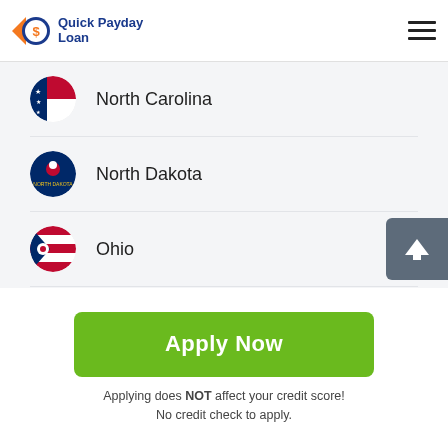Quick Payday Loan
North Carolina
North Dakota
Ohio
Oklahoma
Oregon
Pennsylvania
Apply Now
Applying does NOT affect your credit score!
No credit check to apply.